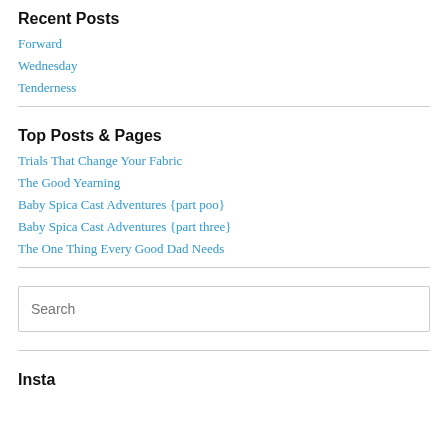Recent Posts
Forward
Wednesday
Tenderness
Top Posts & Pages
Trials That Change Your Fabric
The Good Yearning
Baby Spica Cast Adventures {part poo}
Baby Spica Cast Adventures {part three}
The One Thing Every Good Dad Needs
Search
Instagram